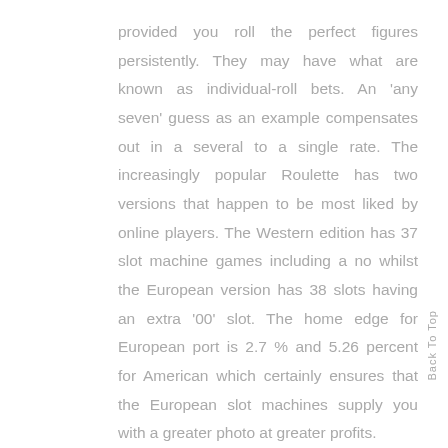provided you roll the perfect figures persistently. They may have what are known as individual-roll bets. An 'any seven' guess as an example compensates out in a several to a single rate. The increasingly popular Roulette has two versions that happen to be most liked by online players. The Western edition has 37 slot machine games including a no whilst the European version has 38 slots having an extra '00' slot. The home edge for European port is 2.7 % and 5.26 percent for American which certainly ensures that the European slot machines supply you with a greater photo at greater profits.

Rule alterations are included at typical time periods to make new variants of any popular game. These